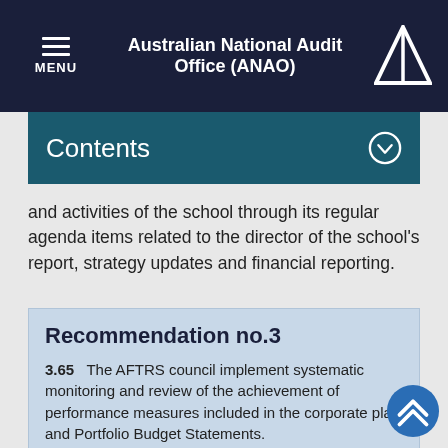Australian National Audit Office (ANAO)
Contents
and activities of the school through its regular agenda items related to the director of the school's report, strategy updates and financial reporting.
Recommendation no.3
3.65   The AFTRS council implement systematic monitoring and review of the achievement of performance measures included in the corporate plan and Portfolio Budget Statements.
Australian Film, Television and Radio School response:
Agreed.
3.66   A system of oversight of performance measures